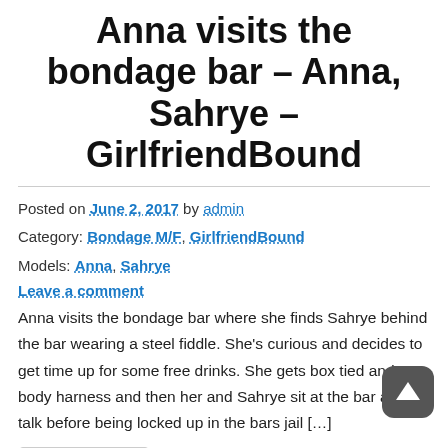Anna visits the bondage bar – Anna, Sahrye – GirlfriendBound
Posted on June 2, 2017 by admin
Category: Bondage M/F, GirlfriendBound
Models: Anna, Sahrye
Leave a comment
Anna visits the bondage bar where she finds Sahrye behind the bar wearing a steel fiddle. She's curious and decides to get time up for some free drinks. She gets box tied and a body harness and then her and Sahrye sit at the bar and talk before being locked up in the bars jail […]
Read more